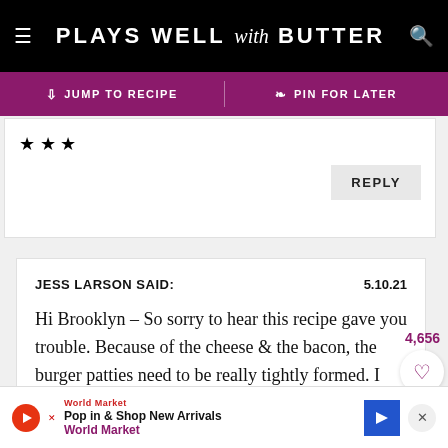PLAYS WELL with BUTTER
JUMP TO RECIPE | PIN FOR LATER
[Figure (screenshot): Star rating icons (3 stars) in a comment reply card with a REPLY button]
JESS LARSON SAID: 5.10.21
Hi Brooklyn – So sorry to hear this recipe gave you trouble. Because of the cheese & the bacon, the burger patties need to be really tightly formed. I find it's easiest to use a ring
4,656
Pop in & Shop New Arrivals World Market